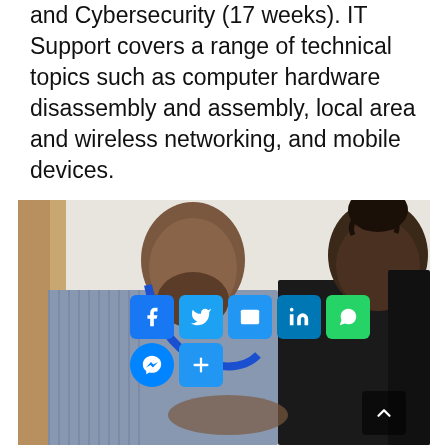and Cybersecurity (17 weeks). IT Support covers a range of technical topics such as computer hardware disassembly and assembly, local area and wireless networking, and mobile devices.
[Figure (photo): Two students working together on a device. A man with a beard wearing a striped shirt and a woman with dreadlocks wearing a black shirt look down at something they are holding. Social media share buttons (Facebook, Twitter, Email, LinkedIn, WhatsApp, Messenger, More) are overlaid at the bottom of the image.]